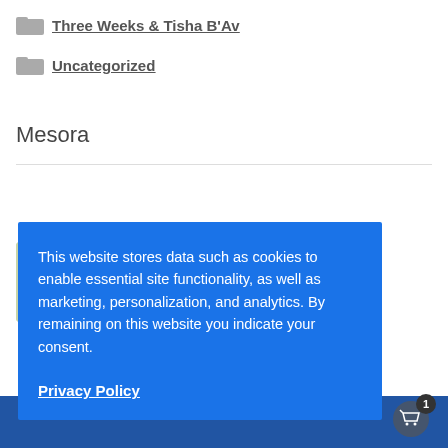Three Weeks & Tisha B'Av
Uncategorized
Mesora
[Figure (illustration): Partial thumbnail image showing Hebrew letter-like shapes on a light green background]
This website stores data such as cookies to enable essential site functionality, as well as marketing, personalization, and analytics. By remaining on this website you indicate your consent.
Privacy Policy